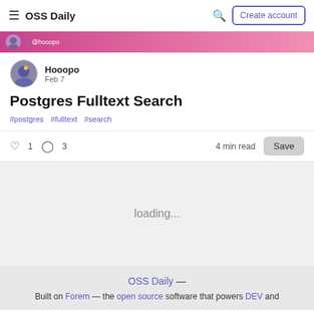OSS Daily | Create account
[Figure (photo): Profile banner strip with avatar and @hooopo Twitter handle on pink gradient background]
Hooopo
Feb 7
Postgres Fulltext Search
#postgres  #fulltext  #search
♡ 1  ○ 3  4 min read  Save
loading...
OSS Daily — Built on Forem — the open source software that powers DEV and